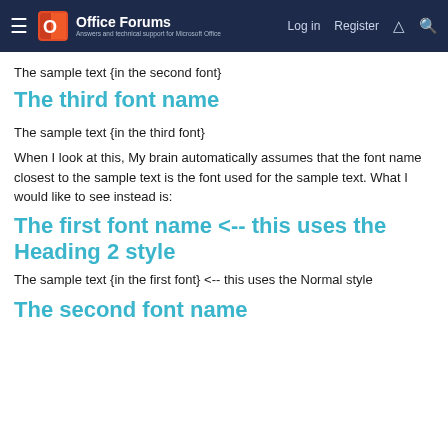Office Forums — Log in  Register
The sample text {in the second font}
The third font name
The sample text {in the third font}
When I look at this, My brain automatically assumes that the font name closest to the sample text is the font used for the sample text. What I would like to see instead is:
The first font name <-- this uses the Heading 2 style
The sample text {in the first font} <-- this uses the Normal style
The second font name